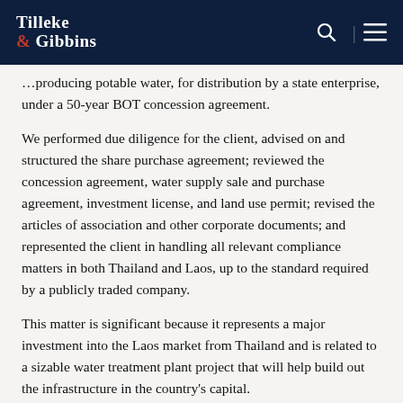Tilleke & Gibbins
…producing potable water, for distribution by a state enterprise, under a 50-year BOT concession agreement.
We performed due diligence for the client, advised on and structured the share purchase agreement; reviewed the concession agreement, water supply sale and purchase agreement, investment license, and land use permit; revised the articles of association and other corporate documents; and represented the client in handling all relevant compliance matters in both Thailand and Laos, up to the standard required by a publicly traded company.
This matter is significant because it represents a major investment into the Laos market from Thailand and is related to a sizable water treatment plant project that will help build out the infrastructure in the country's capital.